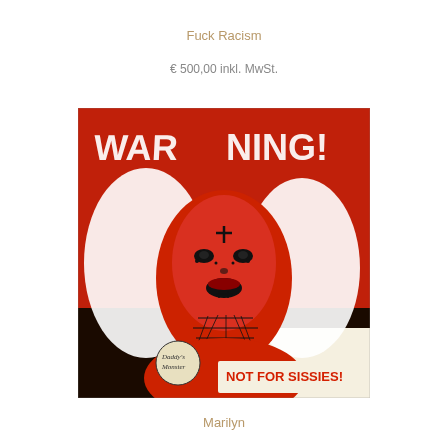Fuck Racism
€ 500,00 inkl. MwSt.
[Figure (photo): Street art / pop art painting depicting Marilyn Monroe figure in red and black tones with white hair, face decorated with tattoo-like markings and spider web pattern on neck. Text at top reads 'WARNING!' and bottom right reads 'NOT FOR SISSIES!'. A badge on the figure reads 'Daddy's Monster'.]
Marilyn